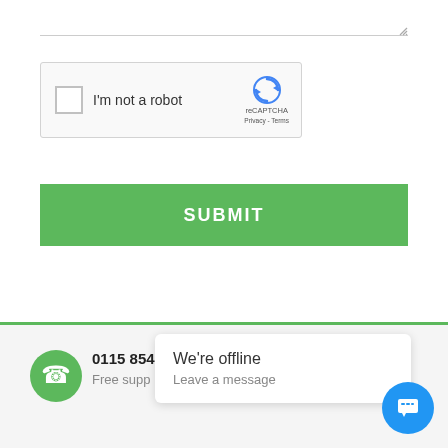[Figure (screenshot): Bottom of a textarea input field with resize handle indicator]
[Figure (screenshot): reCAPTCHA widget with checkbox labeled 'I'm not a robot' and reCAPTCHA logo with Privacy and Terms links]
SUBMIT
0115 854 7... | Free supp...
We're offline
Leave a message